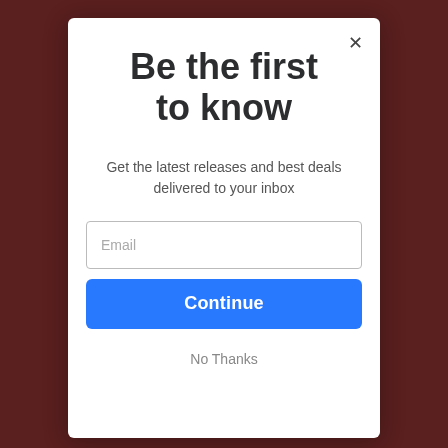[Figure (screenshot): Dark reddish-brown background with partially visible web page content behind a modal dialog overlay]
Be the first to know
Get the latest releases and best deals delivered to your inbox
Email
Continue
No Thanks